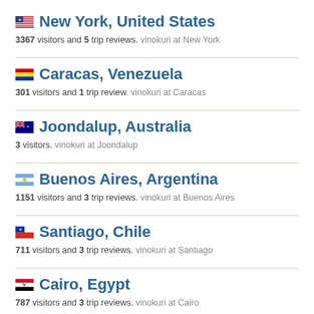New York, United States
3367 visitors and 5 trip reviews. vinokuri at New York
Caracas, Venezuela
301 visitors and 1 trip review. vinokuri at Caracas
Joondalup, Australia
3 visitors. vinokuri at Joondalup
Buenos Aires, Argentina
1151 visitors and 3 trip reviews. vinokuri at Buenos Aires
Santiago, Chile
711 visitors and 3 trip reviews. vinokuri at Santiago
Cairo, Egypt
787 visitors and 3 trip reviews. vinokuri at Cairo